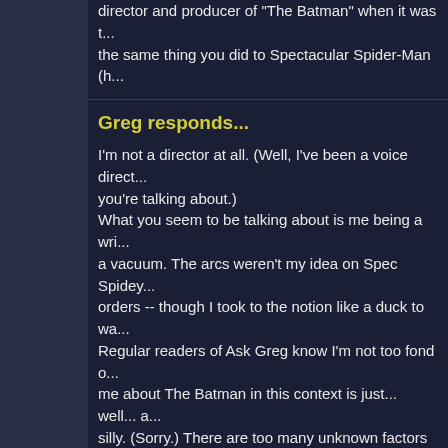director and producer of "The Batman" when it was t... the same thing you did to Spectacular Spider-Man (h...
Greg responds...
I'm not a director at all. (Well, I've been a voice direct... you're talking about.)
What you seem to be talking about is me being a wri... a vacuum. The arcs weren't my idea on Spec Spidey... orders -- though I took to the notion like a duck to wa...
Regular readers of Ask Greg know I'm not too fond o... me about The Batman in this context is just... well... a... silly. (Sorry.) There are too many unknown factors for... the producers of The Batman had no such marching... would have taken that approach.
Question rece...
Ming writes...